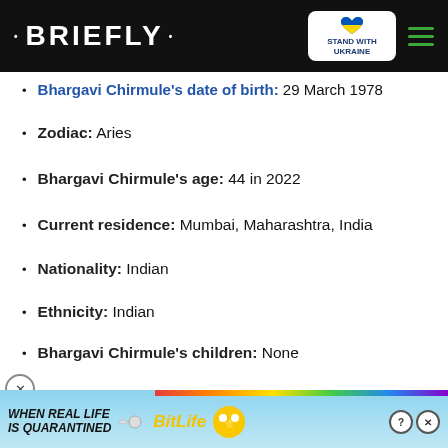• BRIEFLY •
Bhargavi Chirmule's date of birth: 29 March 1978
Zodiac: Aries
Bhargavi Chirmule's age: 44 in 2022
Current residence: Mumbai, Maharashtra, India
Nationality: Indian
Ethnicity: Indian
Bhargavi Chirmule's children: None
[Figure (screenshot): Video player thumbnail showing two people in formal wear at a red carpet event, with pink overlay text: NEEDED A MAN WITH MORE BALLS]
...ents: Sai Chirmule, Shirish
[Figure (screenshot): Advertisement banner: WHEN REAL LIFE IS QUARANTINED - BitLife game ad with emoji characters]